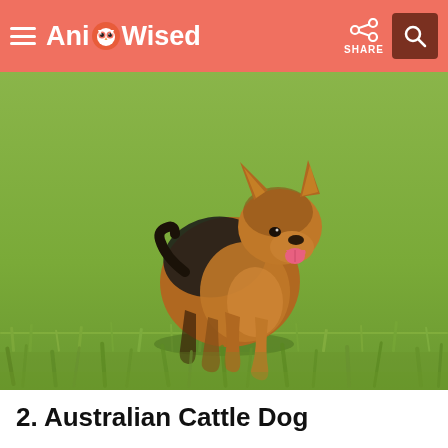AnimalWised
[Figure (photo): A small tan and black terrier-type dog running across a green grassy field, tongue out, ears upright, photographed outdoors in daylight.]
2. Australian Cattle Dog